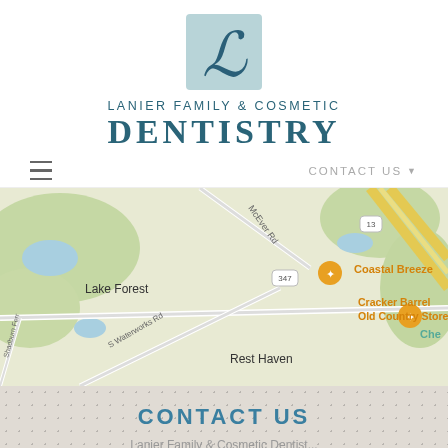[Figure (logo): Lanier Family & Cosmetic Dentistry logo: a light blue/teal square with a cursive 'L' script letter in dark teal, above the practice name in teal uppercase lettering]
LANIER FAMILY & COSMETIC DENTISTRY
≡   CONTACT US ▼
[Figure (map): Google Maps screenshot showing area around Lanier Family & Cosmetic Dentistry. Visible landmarks include Lake Forest, Coastal Breeze restaurant (orange pin), Cracker Barrel Old Country Store (orange pin), Rest Haven. Roads visible include McEver Rd, S Waterworks Rd, Shadburn Ferry, route markers 347 and 13. A major highway runs diagonally in the upper right.]
CONTACT US
Lanier Family & Cosmetic Dentist...